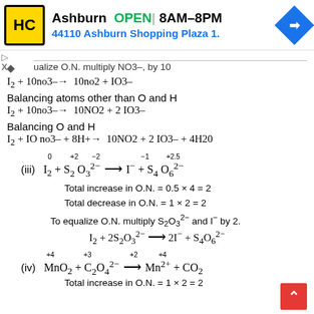[Figure (other): Advertisement banner for HC hardware/home store in Ashburn, showing logo, OPEN status, hours 8AM-8PM, and address 44110 Ashburn Shopping Plaza 1., with navigation icon]
ualize O.N. multiply NO3–, by 10
Balancing atoms other than O and H
Balancing O and H
(iii)
Total increase in O.N. = 0.5 × 4 = 2
Total decrease in O.N. = 1 × 2 = 2
To equalize O.N. multiply S₂O₃²⁻ and I⁻ by 2.
(iv)
Total increase in O.N. = 1 × 2 = 2